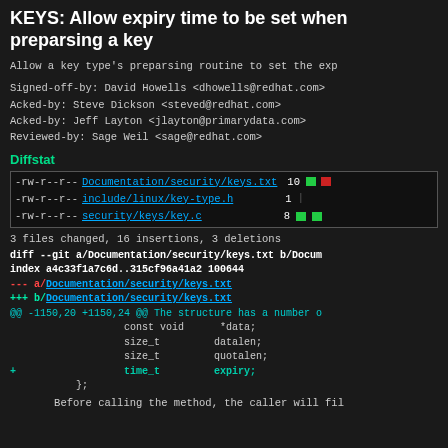KEYS: Allow expiry time to be set when preparsing a key
Allow a key type's preparsing routine to set the exp
Signed-off-by: David Howells <dhowells@redhat.com>
Acked-by: Steve Dickson <steved@redhat.com>
Acked-by: Jeff Layton <jlayton@primarydata.com>
Reviewed-by: Sage Weil <sage@redhat.com>
Diffstat
| permissions | file | count | bar |
| --- | --- | --- | --- |
| -rw-r--r-- | Documentation/security/keys.txt | 10 | green+red |
| -rw-r--r-- | include/linux/key-type.h | 1 | pipe |
| -rw-r--r-- | security/keys/key.c | 8 | green |
3 files changed, 16 insertions, 3 deletions
diff --git a/Documentation/security/keys.txt b/Documentation/security/keys.txt
index a4c33f1a7c6d..315cf96a41a2 100644
--- a/Documentation/security/keys.txt
+++ b/Documentation/security/keys.txt
@@ -1150,20 +1150,24 @@ The structure has a number of
        const void      *data;
        size_t          datalen;
        size_t          quotalen;
+       time_t          expiry;
    };
Before calling the method, the caller will fil